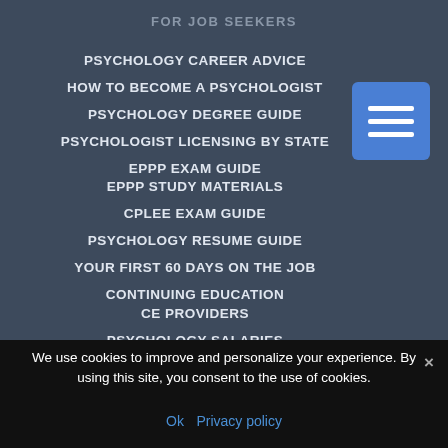FOR JOB SEEKERS
PSYCHOLOGY CAREER ADVICE
HOW TO BECOME A PSYCHOLOGIST
PSYCHOLOGY DEGREE GUIDE
PSYCHOLOGIST LICENSING BY STATE
EPPP EXAM GUIDE
EPPP STUDY MATERIALS
CPLEE EXAM GUIDE
PSYCHOLOGY RESUME GUIDE
YOUR FIRST 60 DAYS ON THE JOB
CONTINUING EDUCATION
CE PROVIDERS
PSYCHOLOGY SALARIES
PSYCHOLOGY JOB OUTLOOK
We use cookies to improve and personalize your experience. By using this site, you consent to the use of cookies.
Ok  Privacy policy